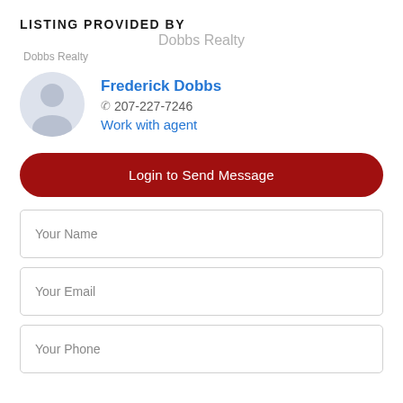LISTING PROVIDED BY
Dobbs Realty
Dobbs Realty
Frederick Dobbs
207-227-7246
Work with agent
Login to Send Message
Your Name
Your Email
Your Phone